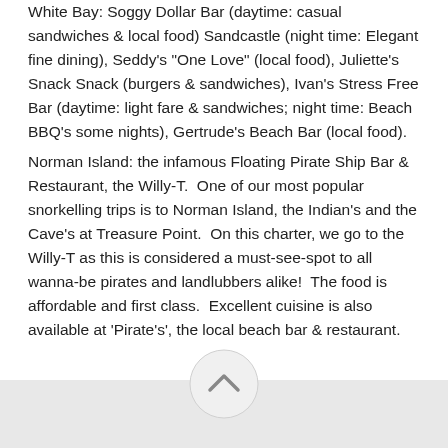White Bay: Soggy Dollar Bar (daytime: casual sandwiches & local food) Sandcastle (night time: Elegant fine dining), Seddy's "One Love" (local food), Juliette's Snack Snack (burgers & sandwiches), Ivan's Stress Free Bar (daytime: light fare & sandwiches; night time: Beach BBQ's some nights), Gertrude's Beach Bar (local food).
Norman Island: the infamous Floating Pirate Ship Bar & Restaurant, the Willy-T.  One of our most popular snorkelling trips is to Norman Island, the Indian's and the Cave's at Treasure Point.  On this charter, we go to the Willy-T as this is considered a must-see-spot to all wanna-be pirates and landlubbers alike!  The food is affordable and first class.  Excellent cuisine is also available at 'Pirate's', the local beach bar & restaurant.
[Figure (other): A circular scroll-to-top button with a chevron/caret arrow pointing upward, on a light grey footer bar]